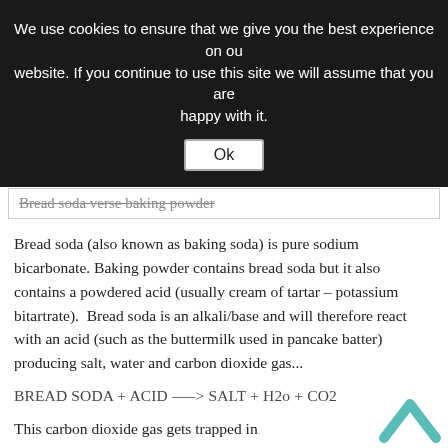We use cookies to ensure that we give you the best experience on our website. If you continue to use this site we will assume that you are happy with it.
Ok
Bread soda verse baking powder
Bread soda (also known as baking soda) is pure sodium bicarbonate. Baking powder contains bread soda but it also contains a powdered acid (usually cream of tartar – potassium bitartrate).  Bread soda is an alkali/base and will therefore react with an acid (such as the buttermilk used in pancake batter) producing salt, water and carbon dioxide gas...
This carbon dioxide gas gets trapped in